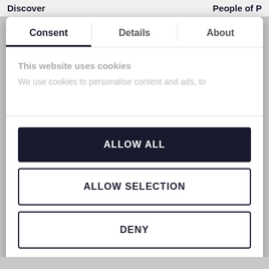Discover   People of P
Consent | Details | About
This website uses cookies
We use cookies to personalise content and ads, to
ALLOW ALL
ALLOW SELECTION
DENY
Powered by Cookiebot by Usercentrics